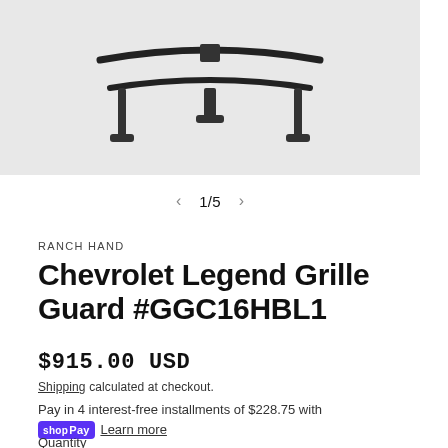[Figure (photo): Product photo of a Chevrolet Legend Grille Guard, black metal guard on a light grey background, showing the top/front of the guard with its mounting legs]
1/5
RANCH HAND
Chevrolet Legend Grille Guard #GGC16HBL1
$915.00 USD
Shipping calculated at checkout.
Pay in 4 interest-free installments of $228.75 with shop Pay Learn more
Quantity